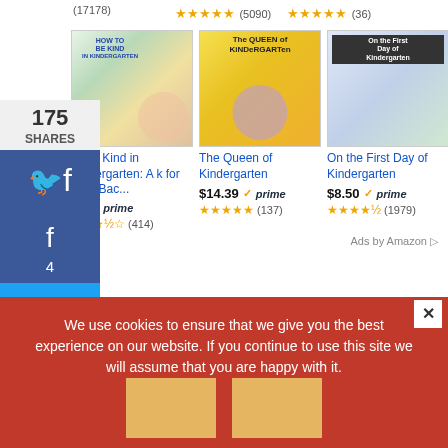(17178)
(5090)
(36)
[Figure (photo): Book cover: How to Be Kind in Kindergarten]
[Figure (photo): Book cover: The Queen of Kindergarten]
[Figure (photo): Book cover: On the First Day of Kindergarten]
to Be Kind in Kindergarten: A k for Your Bac...
The Queen of Kindergarten
On the First Day of Kindergarten
$14.39 prime (137)
$8.50 prime (1979)
Ads by Amazon
We use cookies to ensure that we give you the best experience on our website. If you continue to use this site we will assume that you are happy with it.